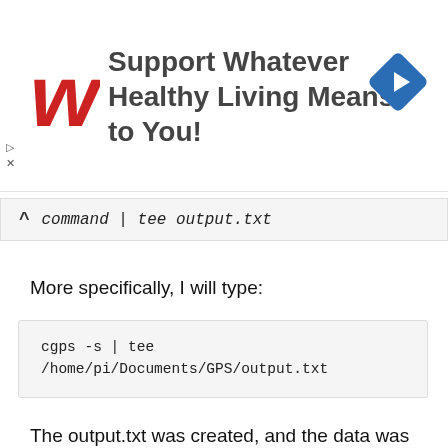[Figure (other): Walgreens advertisement banner: Walgreens cursive W logo in red, text 'Support Whatever Healthy Living Means to You!' in dark gray bold, blue diamond navigation icon on the right. Navigation arrows and X on the left side.]
command | tee output.txt
More specifically, I will type:
cgps -s | tee
/home/pi/Documents/GPS/output.txt
The output.txt was created, and the data was logged in the file. However, it is more useful to output the GPS data in a more user-friendly format. To do this, I will run a Python script that is a GPS polling program. The code for this program is located in the Software section later